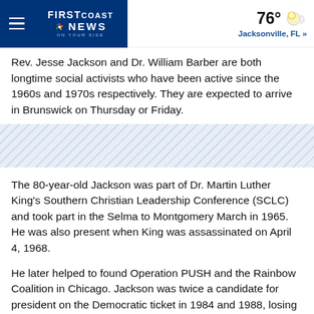FIRSTCOAST NEWS | 76° Jacksonville, FL »
Rev. Jesse Jackson and Dr. William Barber are both longtime social activists who have been active since the 1960s and 1970s respectively. They are expected to arrive in Brunswick on Thursday or Friday.
The 80-year-old Jackson was part of Dr. Martin Luther King's Southern Christian Leadership Conference (SCLC) and took part in the Selma to Montgomery March in 1965. He was also present when King was assassinated on April 4, 1968.
He later helped to found Operation PUSH and the Rainbow Coalition in Chicago. Jackson was twice a candidate for president on the Democratic ticket in 1984 and 1988, losing in the primaries both times. He served as a "shadow